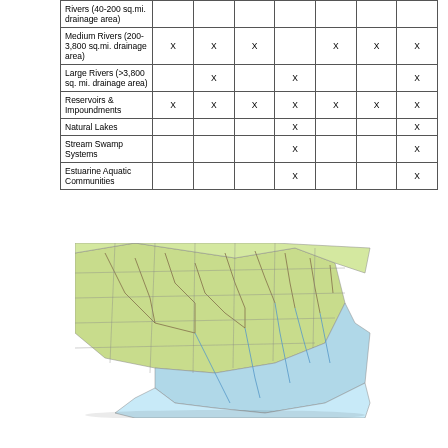|  |  |  |  |  |  |  |  |
| --- | --- | --- | --- | --- | --- | --- | --- |
| Rivers (40-200 sq.mi. drainage area) |  |  |  |  |  |  |  |
| Medium Rivers (200-3,800 sq.mi. drainage area) | X | X | X |  | X | X | X |
| Large Rivers (>3,800 sq. mi. drainage area) |  | X |  | X |  |  | X |
| Reservoirs & Impoundments | X | X | X | X | X | X | X |
| Natural Lakes |  |  |  | X |  |  | X |
| Stream Swamp Systems |  |  |  | X |  |  | X |
| Estuarine Aquatic Communities |  |  |  | X |  |  | X |
[Figure (map): Map of North Carolina showing river systems and drainage areas, with regions shaded in light green, light yellow-green, and light blue, overlaid with a network of river lines.]